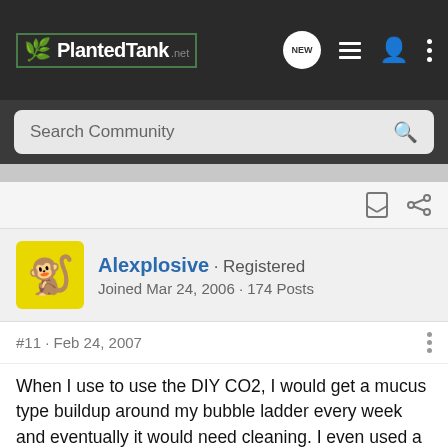PlantedTank.net
Search Community
Alexplosive · Registered
Joined Mar 24, 2006 · 174 Posts
#11 · Feb 24, 2007
When I use to use the DIY CO2, I would get a mucus type buildup around my bubble ladder every week and eventually it would need cleaning. I even used a bubble counter as a separator to make sure none of the liquid was getting through but it didnt help. Any ideas as to what I was doing wrong? Does it matter what type of yeast you use? I used Wine/Champagne yeast and a little over 2 cups of sugar. There was about 5 inches of space in the bottle so that the liquid/foam wouldnt